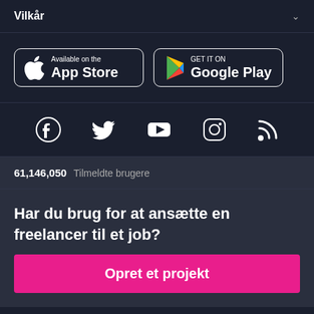Vilkår
[Figure (other): App Store and Google Play download buttons]
[Figure (other): Social media icons: Facebook, Twitter, YouTube, Instagram, RSS]
61,146,050 Tilmeldte brugere
Har du brug for at ansætte en freelancer til et job?
Opret et projekt